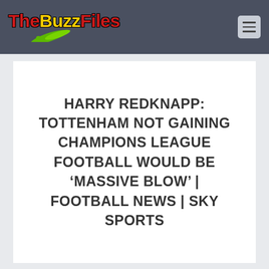TheBuzzFiles [logo with navigation hamburger menu]
HARRY REDKNAPP: TOTTENHAM NOT GAINING CHAMPIONS LEAGUE FOOTBALL WOULD BE ‘MASSIVE BLOW’ | FOOTBALL NEWS | SKY SPORTS